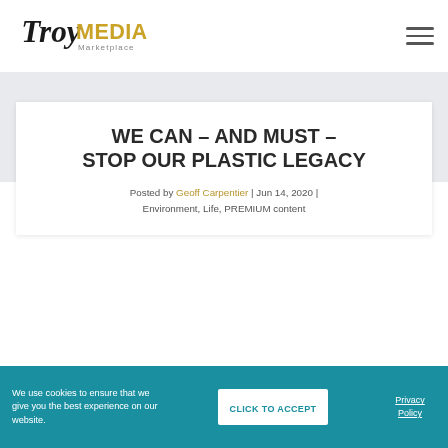[Figure (logo): Troy Media Marketplace logo with black serif Troy text and gold MEDIA text and Marketplace subtitle]
WE CAN – AND MUST – STOP OUR PLASTIC LEGACY
Posted by Geoff Carpentier | Jun 14, 2020 | Environment, Life, PREMIUM content
We use cookies to ensure that we give you the best experience on our website. CLICK TO ACCEPT Privacy Policy